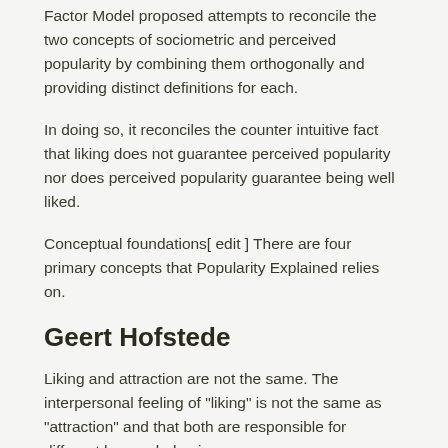Factor Model proposed attempts to reconcile the two concepts of sociometric and perceived popularity by combining them orthogonally and providing distinct definitions for each.
In doing so, it reconciles the counter intuitive fact that liking does not guarantee perceived popularity nor does perceived popularity guarantee being well liked.
Conceptual foundations[ edit ] There are four primary concepts that Popularity Explained relies on.
Geert Hofstede
Liking and attraction are not the same. The interpersonal feeling of "liking" is not the same as "attraction" and that both are responsible for different human behaviours.
The neurological evidence of this comes from the